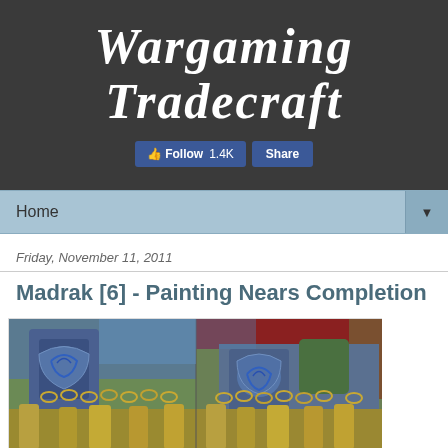Wargaming Tradecraft
[Figure (screenshot): Facebook Follow (1.4K) and Share buttons]
Home
Friday, November 11, 2011
Madrak [6] - Painting Nears Completion
[Figure (photo): Two side-by-side close-up photos of a painted miniature (Madrak) showing detailed armor with blue and gold metallic colors]